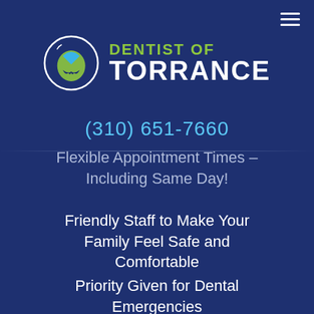[Figure (logo): Dentist of Torrance logo: circular badge with stylized tooth/arrow icon in green and blue on dark navy background, next to text 'DENTIST OF TORRANCE' in green and white]
(310) 651-7660
Flexible Appointment Times – Including Same Day!
Friendly Staff to Make Your Family Feel Safe and Comfortable
Priority Given for Dental Emergencies